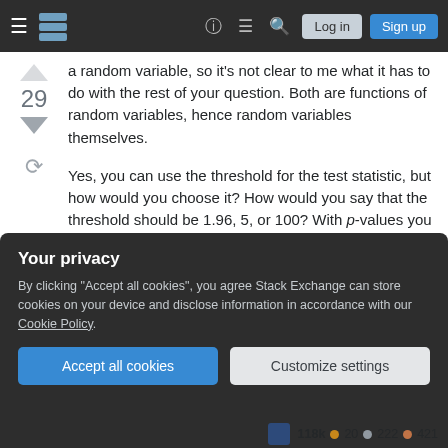Stack Exchange navigation bar with Log in and Sign up buttons
a random variable, so it's not clear to me what it has to do with the rest of your question. Both are functions of random variables, hence random variables themselves.
Yes, you can use the threshold for the test statistic, but how would you choose it? How would you say that the threshold should be 1.96, 5, or 100? With p-values you have a familiar and easily interpretable scale of probabilities, that is not necessarily the case for test statistics.
Your privacy
By clicking "Accept all cookies", you agree Stack Exchange can store cookies on your device and disclose information in accordance with our Cookie Policy.
Accept all cookies  Customize settings
118k 20 222 421